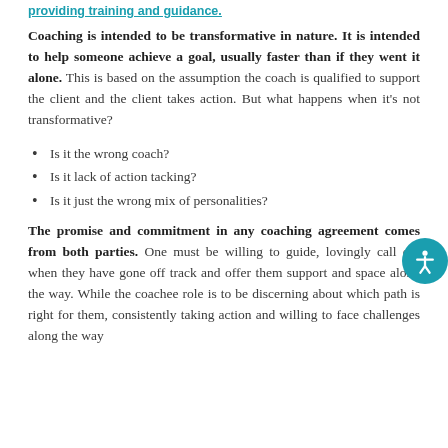providing training and guidance.
Coaching is intended to be transformative in nature. It is intended to help someone achieve a goal, usually faster than if they went it alone. This is based on the assumption the coach is qualified to support the client and the client takes action. But what happens when it's not transformative?
Is it the wrong coach?
Is it lack of action tacking?
Is it just the wrong mix of personalities?
The promise and commitment in any coaching agreement comes from both parties. One must be willing to guide, lovingly call out when they have gone off track and offer them support and space along the way. While the coachee role is to be discerning about which path is right for them, consistently taking action and willing to face challenges along the way